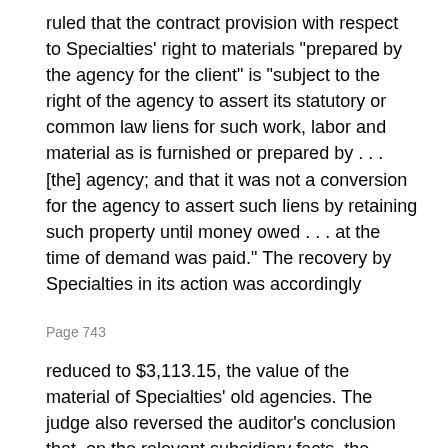ruled that the contract provision with respect to Specialties' right to materials "prepared by the agency for the client" is "subject to the right of the agency to assert its statutory or common law liens for such work, labor and material as is furnished or prepared by . . . [the] agency; and that it was not a conversion for the agency to assert such liens by retaining such property until money owed . . . at the time of demand was paid." The recovery by Specialties in its action was accordingly
Page 743
reduced to $3,113.15, the value of the material of Specialties' old agencies. The judge also reversed the auditor's conclusion that, on the relevant subsidiary facts, the Colona TV commercial was not authorized,